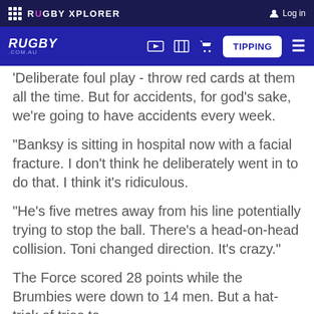RUGBY XPLORER | Log in
RUGBY .COM.AU | TIPPING
'Deliberate foul play - throw red cards at them all the time. But for accidents, for god's sake, we're going to have accidents every week.
"Banksy is sitting in hospital now with a facial fracture. I don't think he deliberately went in to do that. I think it's ridiculous.
"He's five metres away from his line potentially trying to stop the ball. There's a head-on-head collision. Toni changed direction. It's crazy."
The Force scored 28 points while the Brumbies were down to 14 men. But a hat-trick of tries to